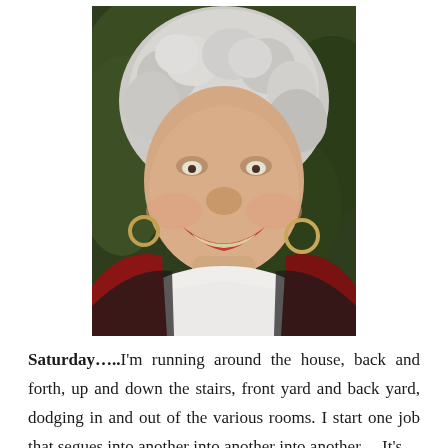[Figure (photo): Portrait photo of a middle-aged woman with curly gray-white hair, laughing broadly, wearing hoop earrings, a white turtleneck, and a red jacket/scarf. Background is dark green foliage.]
Saturday…..I'm running around the house, back and forth, up and down the stairs, front yard and back yard, dodging in and out of the various rooms. I start one job that segues into another into another into another… It's